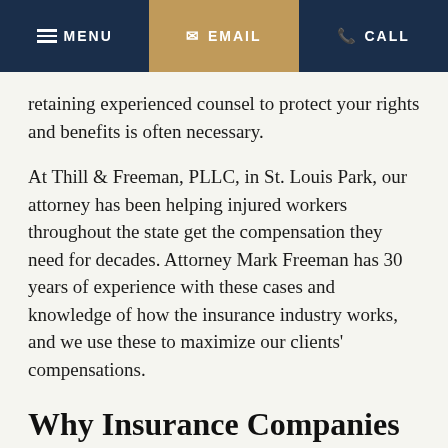MENU | EMAIL | CALL
retaining experienced counsel to protect your rights and benefits is often necessary.
At Thill & Freeman, PLLC, in St. Louis Park, our attorney has been helping injured workers throughout the state get the compensation they need for decades. Attorney Mark Freeman has 30 years of experience with these cases and knowledge of how the insurance industry works, and we use these to maximize our clients' compensations.
Why Insurance Companies May Challenge Or Deny A Back...